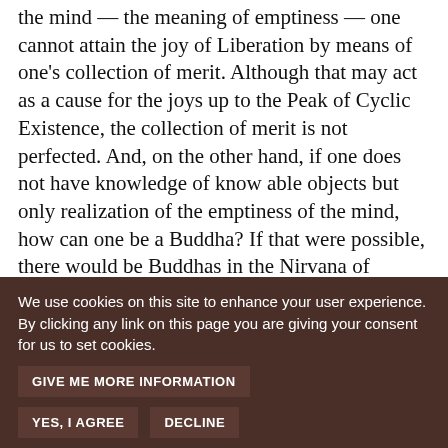the mind — the meaning of emptiness — one cannot attain the joy of Liberation by means of one's collection of merit. Although that may act as a cause for the joys up to the Peak of Cyclic Existence, the collection of merit is not perfected. And, on the other hand, if one does not have knowledge of know able objects but only realization of the emptiness of the mind, how can one be a Buddha? If that were possible, there would be Buddhas in the Nirvana of Listeners, for which there is realization of emptiness alone, and there would also be Buddhas in empty space. But how could there be Buddhas there? Thus the assertion of all the Sutras and Tantras is that Buddhahood occurs through knowledge of all knowable objects and through realization
We use cookies on this site to enhance your user experience. By clicking any link on this page you are giving your consent for us to set cookies.
GIVE ME MORE INFORMATION
YES, I AGREE   DECLINE